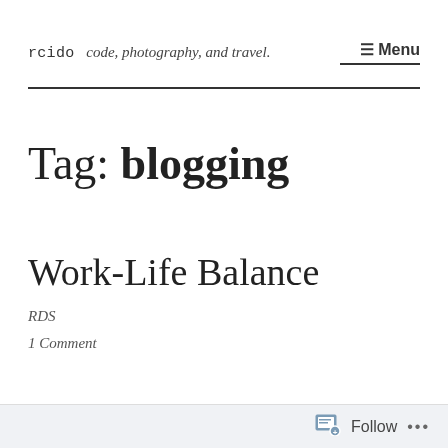rcido  code, photography, and travel.  ☰ Menu
Tag: blogging
Work-Life Balance
RDS
1 Comment
Follow  •••